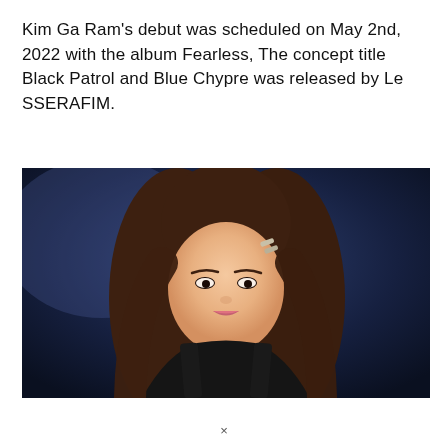Kim Ga Ram's debut was scheduled on May 2nd, 2022 with the album Fearless, The concept title Black Patrol and Blue Chypre was released by Le SSERAFIM.
[Figure (photo): Portrait photo of Kim Ga Ram, a young woman with long brown wavy hair and a hair clip, wearing a black outfit, against a dark blurred background.]
×